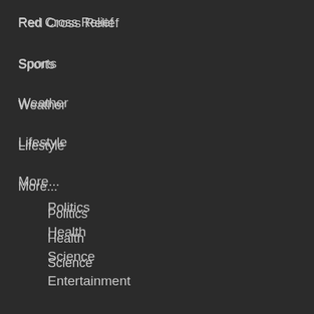Red Cross Relief
Sports
Weather
Lifestyle
More...
Politics
Health
Science
Entertainment
Technology
What's on TV?
CATEGORIES
Local News